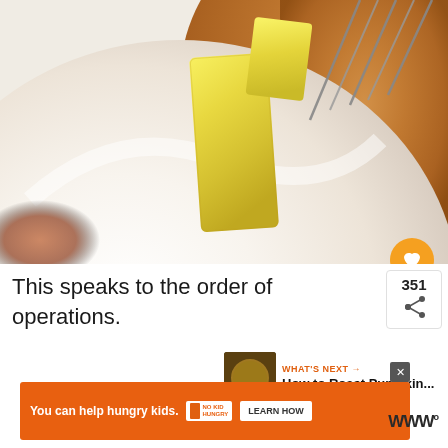[Figure (photo): Close-up photo of a white mixing bowl containing butter sticks and brown sugar, with a whisk partially visible in the upper right corner and a reddish spice in the lower left.]
This speaks to the order of operations.
351
WHAT'S NEXT → How to Roast Pumpkin...
You can help hungry kids. NO KID HUNGRY LEARN HOW